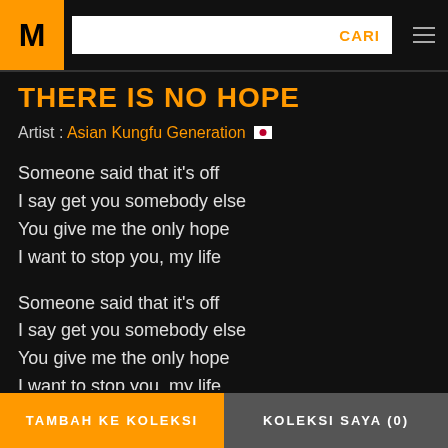CARI
THERE IS NO HOPE
Artist : Asian Kungfu Generation 🇯🇵
Someone said that it's off
I say get you somebody else
You give me the only hope
I want to stop you, my life
Someone said that it's off
I say get you somebody else
You give me the only hope
I want to stop you, my life
TAMBAH KE KOLEKSI   KOLEKSI SAYA (0)